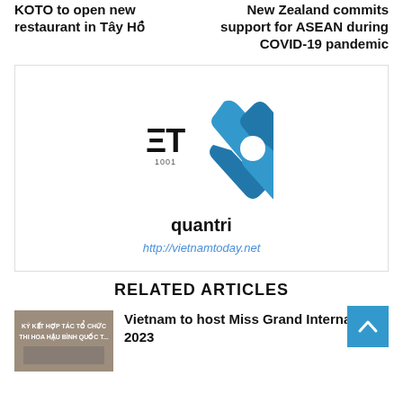KOTO to open new restaurant in Tây Hồ
New Zealand commits support for ASEAN during COVID-19 pandemic
[Figure (logo): ETX logo with blue X shape and ET text, followed by quantri username and http://vietnamtoday.net URL]
RELATED ARTICLES
[Figure (photo): Thumbnail image with Vietnamese text KÝ KẾT HỢP TÁC TỔ CHỨC THI HOA HẬU BÌNH QUỐC T...]
Vietnam to host Miss Grand International 2023